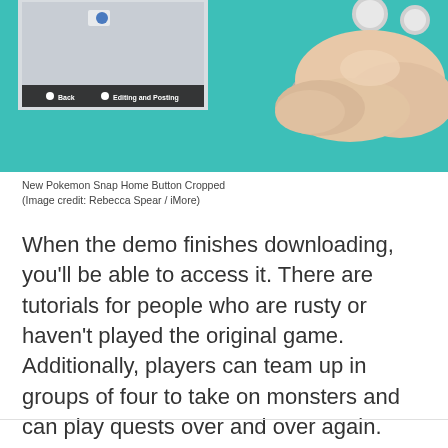[Figure (photo): Close-up photo of a hand pressing the home button on a teal Nintendo Switch Lite, with a screen visible in the background showing 'Back' and 'Editing and Posting' options.]
New Pokemon Snap Home Button Cropped
(Image credit: Rebecca Spear / iMore)
When the demo finishes downloading, you'll be able to access it. There are tutorials for people who are rusty or haven't played the original game. Additionally, players can team up in groups of four to take on monsters and can play quests over and over again.